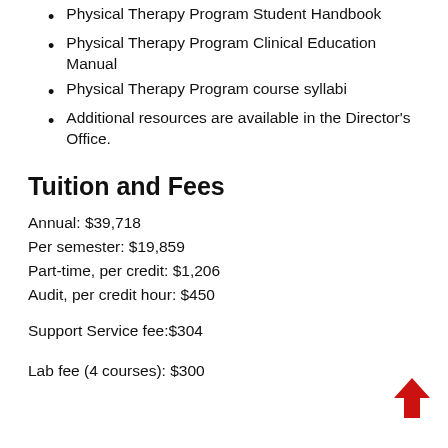Physical Therapy Program Student Handbook
Physical Therapy Program Clinical Education Manual
Physical Therapy Program course syllabi
Additional resources are available in the Director's Office.
Tuition and Fees
Annual: $39,718
Per semester: $19,859
Part-time, per credit: $1,206
Audit, per credit hour: $450
Support Service fee:$304
Lab fee (4 courses): $300